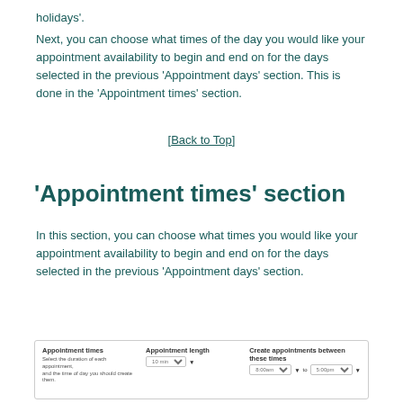holidays'.
Next, you can choose what times of the day you would like your appointment availability to begin and end on for the days selected in the previous 'Appointment days' section. This is done in the 'Appointment times' section.
[Back to Top]
'Appointment times' section
In this section, you can choose what times you would like your appointment availability to begin and end on for the days selected in the previous 'Appointment days' section.
[Figure (screenshot): Screenshot of an 'Appointment times' section UI showing fields for appointment length with a dropdown (10 min), Create appointments between/time dropdown (8:00am to 5:00pm)]